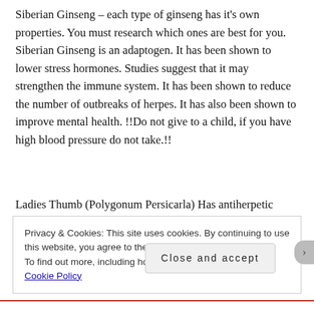Siberian Ginseng – each type of ginseng has it's own properties. You must research which ones are best for you. Siberian Ginseng is an adaptogen. It has been shown to lower stress hormones. Studies suggest that it may strengthen the immune system. It has been shown to reduce the number of outbreaks of herpes. It has also been shown to improve mental health. !!Do not give to a child, if you have high blood pressure do not take.!!
Ladies Thumb (Polygonum Persicarla) Has antiherpetic
Privacy & Cookies: This site uses cookies. By continuing to use this website, you agree to their use.
To find out more, including how to control cookies, see here: Cookie Policy